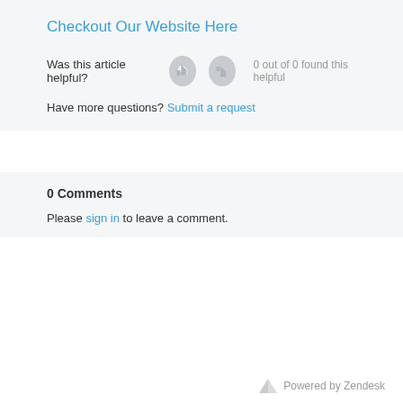Checkout Our Website Here
Was this article helpful? 0 out of 0 found this helpful
Have more questions? Submit a request
0 Comments
Please sign in to leave a comment.
Powered by Zendesk